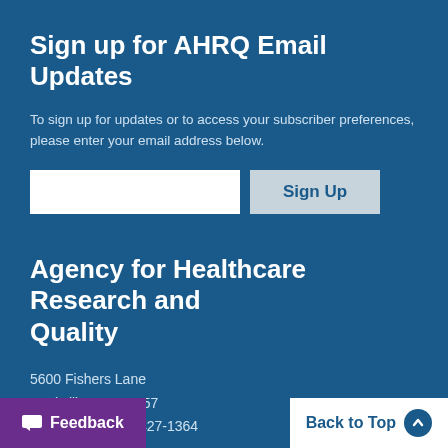Sign up for AHRQ Email Updates
To sign up for updates or to access your subscriber preferences, please enter your email address below.
[Figure (other): Email input field and Sign Up button form row]
Agency for Healthcare Research and Quality
5600 Fishers Lane
Rockville, MD 20857
Telephone: (301) 427-1364
[Figure (other): Feedback button (purple) and Back to Top button (white) in bottom bar]